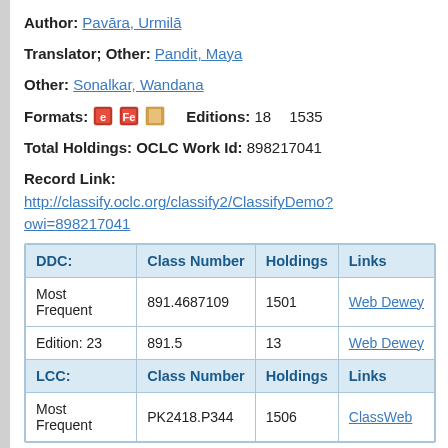Author: Pavāra, Urmilā
Translator; Other: Pandit, Maya
Other: Sonalkar, Wandana
Formats: [icons] Editions: 18   1535
Total Holdings: OCLC Work Id: 898217041
Record Link:
http://classify.oclc.org/classify2/ClassifyDemo?owi=898217041
| DDC: | Class Number | Holdings | Links |
| --- | --- | --- | --- |
| Most Frequent | 891.4687109 | 1501 | Web Dewey |
| Edition: 23 | 891.5 | 13 | Web Dewey |
| LCC: | Class Number | Holdings | Links |
| Most Frequent | PK2418.P344 | 1506 | ClassWeb |
DDC   LCC   All
DDC